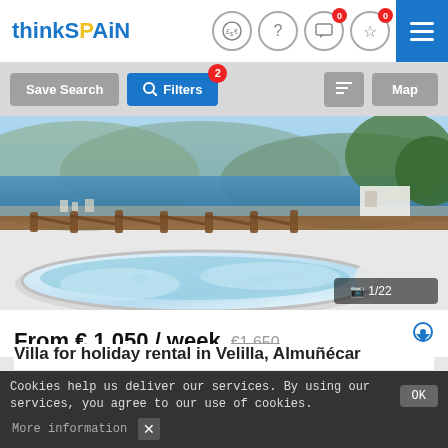thinkSPAIN
[Figure (photo): Outdoor hot tub/jacuzzi on a terrace overlooking a bay and mountains, with wooden railings and Mediterranean sea view. Photo counter shows 1/22.]
From € 1,050 / week  €1,650
Villa for holiday rental in Velilla, Almuñécar
180 m2  Build  3 Bedrooms  3 Bathrooms
Cookies help us deliver our services. By using our services, you agree to our use of cookies.  OK  More information  ✕